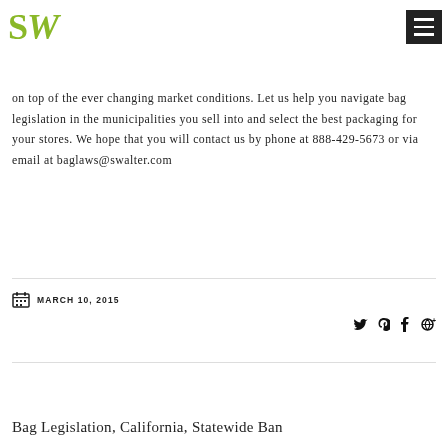SW logo and navigation
California allows and counties implement, until now that SB 270 will not be decided until November 2016. Our retail packaging specialists stay on top of the ever changing market conditions. Let us help you navigate bag legislation in the municipalities you sell into and select the best packaging for your stores. We hope that you will contact us by phone at 888-429-5673 or via email at baglaws@swalter.com
MARCH 10, 2015
Social share icons: Twitter, Pinterest, Facebook, Google+
Bag Legislation, California, Statewide Ban